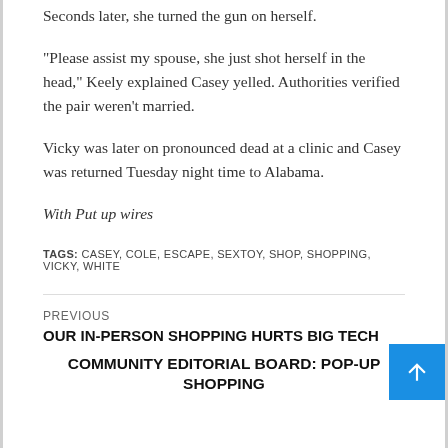Seconds later, she turned the gun on herself.
“Please assist my spouse, she just shot herself in the head,” Keely explained Casey yelled. Authorities verified the pair weren’t married.
Vicky was later on pronounced dead at a clinic and Casey was returned Tuesday night time to Alabama.
With Put up wires
TAGS: CASEY, COLE, ESCAPE, SEXTOY, SHOP, SHOPPING, VICKY, WHITE
PREVIOUS
OUR IN-PERSON SHOPPING HURTS BIG TECH
COMMUNITY EDITORIAL BOARD: POP-UP SHOPPING